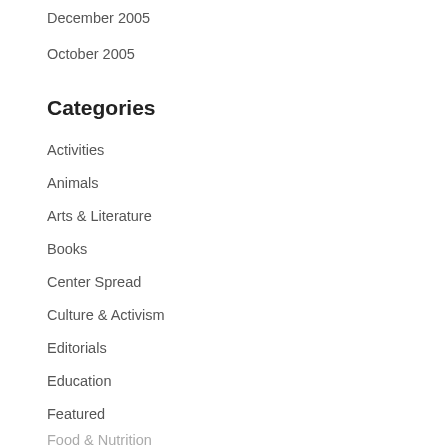December 2005
October 2005
Categories
Activities
Animals
Arts & Literature
Books
Center Spread
Culture & Activism
Editorials
Education
Featured
Food & Nutrition
Front Page